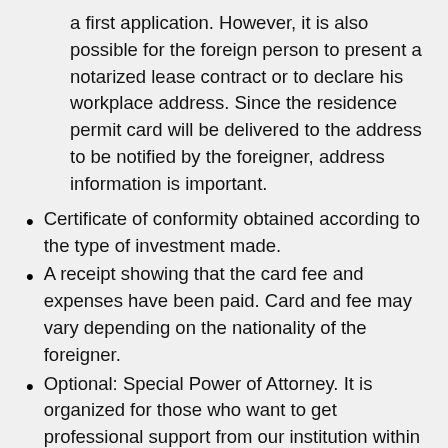a first application. However, it is also possible for the foreign person to present a notarized lease contract or to declare his workplace address. Since the residence permit card will be delivered to the address to be notified by the foreigner, address information is important.
Certificate of conformity obtained according to the type of investment made.
A receipt showing that the card fee and expenses have been paid. Card and fee may vary depending on the nationality of the foreigner.
Optional: Special Power of Attorney. It is organized for those who want to get professional support from our institution within the scope of carrying out all these transactions